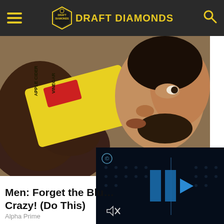DRAFT DIAMONDS
[Figure (photo): A man drinking from a large apple cider vinegar bottle (Bragg Organic Apple Cider Vinegar), tilting it up to his mouth. Close-up shot showing his face in profile.]
[Figure (screenshot): Video player overlay with dark background, blue play button arrows icon, and a muted speaker icon in the bottom left corner.]
Men: Forget the Blu... Crazy! (Do This)
Alpha Prime